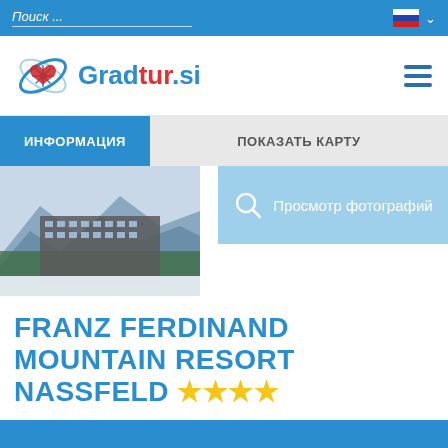Поиск ...
[Figure (logo): Gradtur.si logo with snowflake icon and hamburger menu]
ИНФОРМАЦИЯ  ПОКАЗАТЬ КАРТУ
[Figure (photo): Hotel building in snowy mountain setting]
Просмотр фотографий
FRANZ FERDINAND MOUNTAIN RESORT NASSFELD ★★★★